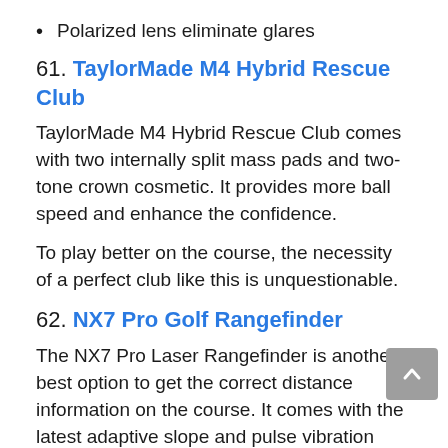Polarized lens eliminate glares
61. TaylorMade M4 Hybrid Rescue Club
TaylorMade M4 Hybrid Rescue Club comes with two internally split mass pads and two-tone crown cosmetic. It provides more ball speed and enhance the confidence.
To play better on the course, the necessity of a perfect club like this is unquestionable.
62. NX7 Pro Golf Rangefinder
The NX7 Pro Laser Rangefinder is another best option to get the correct distance information on the course. It comes with the latest adaptive slope and pulse vibration